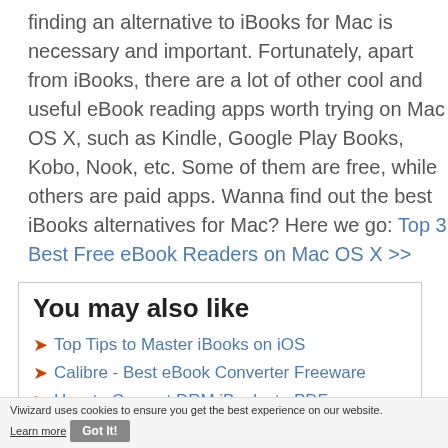finding an alternative to iBooks for Mac is necessary and important. Fortunately, apart from iBooks, there are a lot of other cool and useful eBook reading apps worth trying on Mac OS X, such as Kindle, Google Play Books, Kobo, Nook, etc. Some of them are free, while others are paid apps. Wanna find out the best iBooks alternatives for Mac? Here we go: Top 3 Best Free eBook Readers on Mac OS X >>
You may also like
Top Tips to Master iBooks on iOS
Calibre - Best eBook Converter Freeware
How to Convert DRM iBooks to PDF
Top 10 Most Anticipated Books of 2016 on iBooks Store
Viwizard uses cookies to ensure you get the best experience on our website. Learn more Got It!